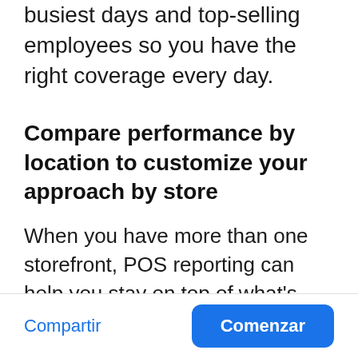busiest days and top-selling employees so you have the right coverage every day.
Compare performance by location to customize your approach by store
When you have more than one storefront, POS reporting can help you stay on top of what's happening at each location. For example, by reviewing sales and employee
Compartir | Comenzar